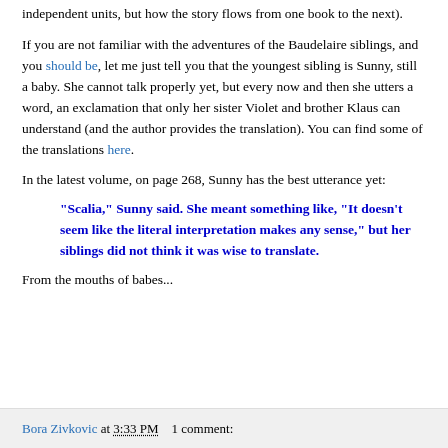independent units, but how the story flows from one book to the next).
If you are not familiar with the adventures of the Baudelaire siblings, and you should be, let me just tell you that the youngest sibling is Sunny, still a baby. She cannot talk properly yet, but every now and then she utters a word, an exclamation that only her sister Violet and brother Klaus can understand (and the author provides the translation). You can find some of the translations here.
In the latest volume, on page 268, Sunny has the best utterance yet:
"Scalia," Sunny said. She meant something like, "It doesn't seem like the literal interpretation makes any sense," but her siblings did not think it was wise to translate.
From the mouths of babes...
Bora Zivkovic at 3:33 PM   1 comment: